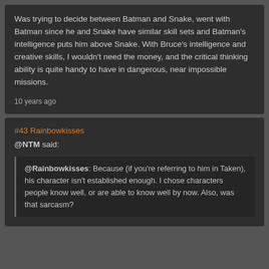Was trying to decide between Batman and Snake, went with Batman since he and Snake have similar skill sets and Batman's intelligence puts him above Snake. With Bruce's intelligence and creative skills, I wouldn't need the money, and the critical thinking ability is quite handy to have in dangerous, near impossible missions.
10 years ago
#43 Rainbowkisses
@NTM said:
@Rainbowkisses: Because (if you're referring to him in Taken), his character isn't established enough. I chose characters people know well, or are able to know well by now. Also, was that sarcasm?